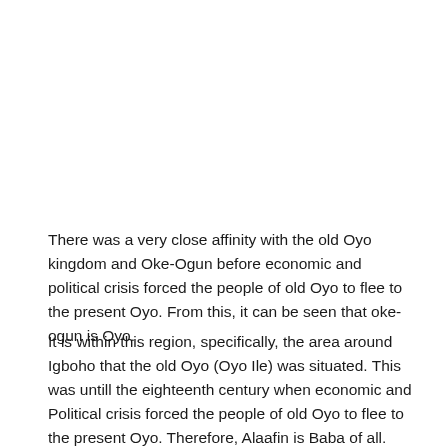There was a very close affinity with the old Oyo kingdom and Oke-Ogun before economic and political crisis forced the people of old Oyo to flee to the present Oyo. From this, it can be seen that oke-ogun is Oyo.
It is within this region, specifically, the area around Igboho that the old Oyo (Oyo Ile) was situated. This was untill the eighteenth century when economic and Political crisis forced the people of old Oyo to flee to the present Oyo. Therefore, Alaafin is Baba of all.